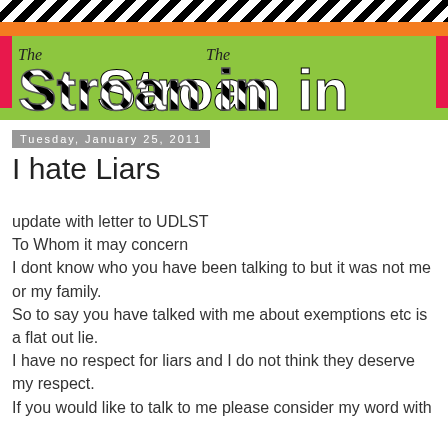[Figure (illustration): Colorful blog header banner with zebra-stripe pattern at top, orange strip, pink side accents, bright green background, and decorative zebra-print text reading 'The Stroan in' in a playful font]
Tuesday, January 25, 2011
I hate Liars
update with letter to UDLST
To Whom it may concern
I dont know who you have been talking to but it was not me or my family.
So to say you have talked with me about exemptions etc is a flat out lie.
I have no respect for liars and I do not think they deserve my respect.
If you would like to talk to me please consider my word with